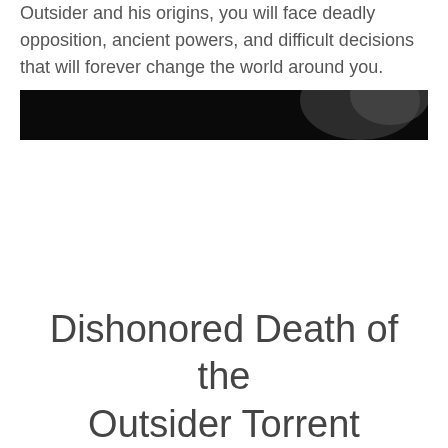Outsider and his origins, you will face deadly opposition, ancient powers, and difficult decisions that will forever change the world around you.
[Figure (photo): Dark image showing a partially visible face or figure against a black background, cropped at the top of the image area.]
Dishonored Death of the Outsider Torrent